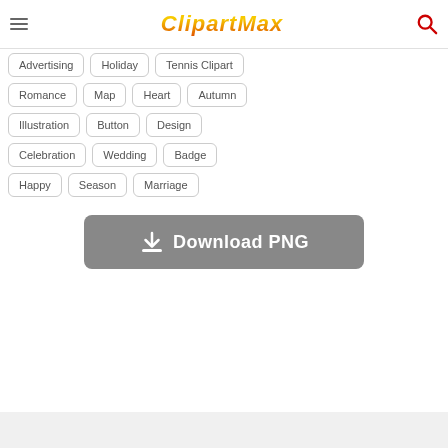ClipartMax
Advertising
Holiday
Tennis Clipart
Romance
Map
Heart
Autumn
Illustration
Button
Design
Celebration
Wedding
Badge
Happy
Season
Marriage
Download PNG